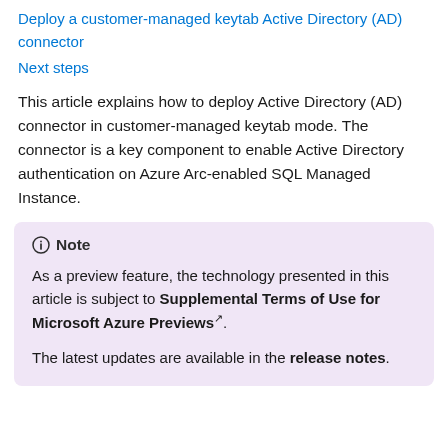Deploy a customer-managed keytab Active Directory (AD) connector
Next steps
This article explains how to deploy Active Directory (AD) connector in customer-managed keytab mode. The connector is a key component to enable Active Directory authentication on Azure Arc-enabled SQL Managed Instance.
Note
As a preview feature, the technology presented in this article is subject to Supplemental Terms of Use for Microsoft Azure Previews. The latest updates are available in the release notes.